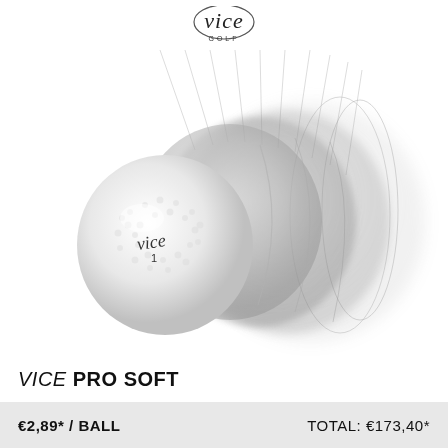[Figure (logo): Vice Golf logo — cursive 'vice' text with 'GOLF' below in small caps]
[Figure (photo): Exploded layered view of a Vice Pro Soft golf ball showing inner core layers expanding outward to the right, with the white dimpled ball branded 'vice 1' on the left]
VICE PRO SOFT
€2,89* / BALL
TOTAL: €173,40*